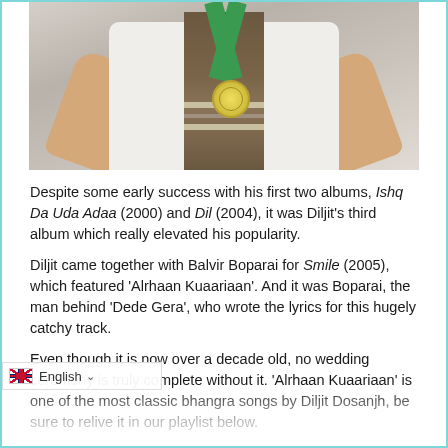[Figure (photo): Person wearing a white shirt with a brown scarf/stole draped around neck, wearing a gold medal on a green lanyard, hands on hips.]
Despite some early success with his first two albums, Ishq Da Uda Adaa (2000) and Dil (2004), it was Diljit's third album which really elevated his popularity.
Diljit came together with Balvir Boparai for Smile (2005), which featured 'Alrhaan Kuaariaan'. And it was Boparai, the man behind 'Dede Gera', who wrote the lyrics for this hugely catchy track.
Even though it is now over a decade old, no wedding ceremony is truly complete without it. 'Alrhaan Kuaariaan' is one of the most classic bhangra songs by Diljit Dosanjh, be sure to relive it in our playlist below.